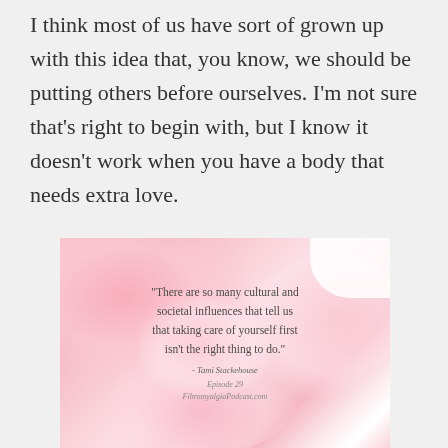I think most of us have sort of grown up with this idea that, you know, we should be putting others before ourselves. I'm not sure that's right to begin with, but I know it doesn't work when you have a body that needs extra love.
[Figure (illustration): A pink floral/petal background image with a quote overlay reading: 'There are so many cultural and societal influences that tell us that taking care of yourself first isn't the right thing to do.' attributed to Tami Stackehouse, Episode 29, FibromyalgiaPodcast.com]